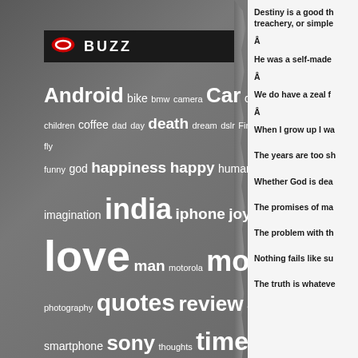[Figure (other): BUZZ logo/header bar with red oval icon and white BUZZ text on black background, on grey panel]
[Figure (infographic): Word cloud with technology and life-related words in varying sizes on grey background: Android, bike, bmw, camera, Car, child, children, coffee, dad, day, death, dream, dslr, Fire fly, funny, god, happiness, happy, human, imagination, india, iphone, joy, life, love, man, motorola, movie, music, photography, quotes, review, Samsung, smartphone, sony, thoughts, time, trailer, universe, video, war, watch, water, world]
Destiny is a good th treachery, or simple
Â
He was a self-made
Â
We do have a zeal f
Â
When I grow up I wa
The years are too sh
Whether God is dea
The promises of ma
The problem with th
Nothing fails like su
The truth is whateve